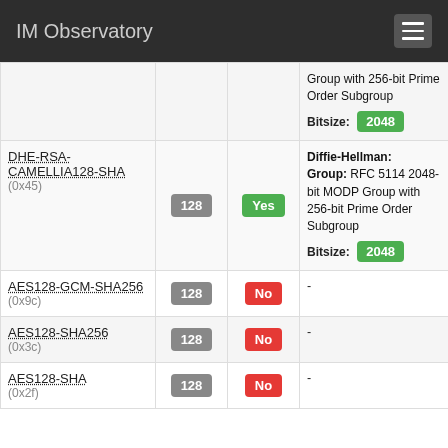IM Observatory
| Cipher | Bits | FS | Details |
| --- | --- | --- | --- |
| (partial row) Group with 256-bit Prime Order Subgroup Bitsize: 2048 |  |  |  |
| DHE-RSA-CAMELLIA128-SHA (0x45) | 128 | Yes | Diffie-Hellman: Group: RFC 5114 2048-bit MODP Group with 256-bit Prime Order Subgroup Bitsize: 2048 |
| AES128-GCM-SHA256 (0x9c) | 128 | No | - |
| AES128-SHA256 (0x3c) | 128 | No | - |
| AES128-SHA (0x2f) | 128 | No | - |